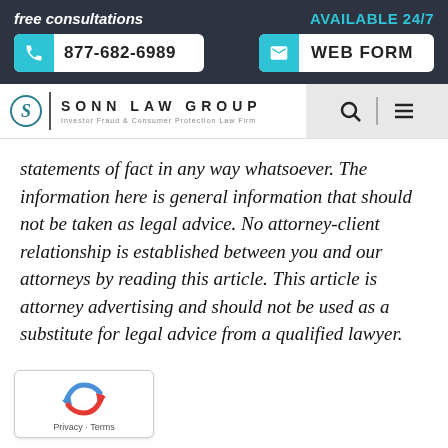free consultations | AVAILABLE 24/7 | 877-682-6989 | WEB FORM
[Figure (logo): Sonn Law Group logo — Investor Fraud & Consumer Protection Law Firm]
statements of fact in any way whatsoever. The information here is general information that should not be taken as legal advice. No attorney-client relationship is established between you and our attorneys by reading this article. This article is attorney advertising and should not be used as a substitute for legal advice from a qualified lawyer.
[Figure (other): reCAPTCHA widget with Privacy - Terms links]